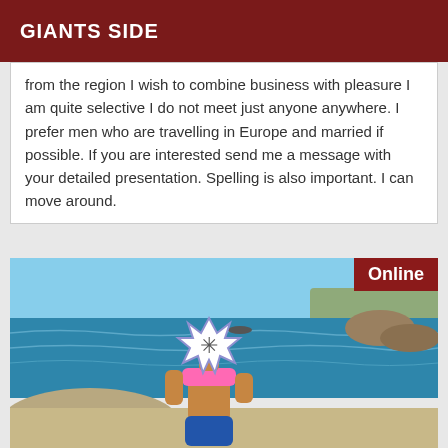GIANTS SIDE
from the region I wish to combine business with pleasure I am quite selective I do not meet just anyone anywhere. I prefer men who are travelling in Europe and married if possible. If you are interested send me a message with your detailed presentation. Spelling is also important. I can move around.
[Figure (photo): Person in pink bikini top sitting on rocks near blue sea, face obscured with a starburst censorship graphic. 'Online' badge in top right corner.]